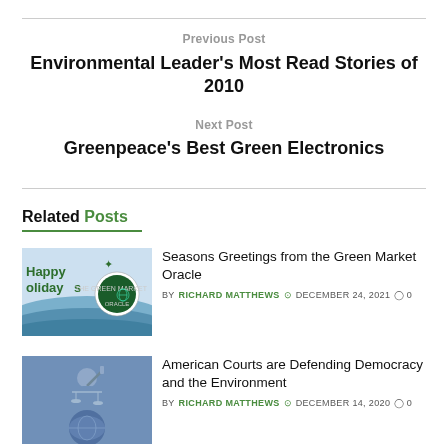Previous Post
Environmental Leader's Most Read Stories of 2010
Next Post
Greenpeace's Best Green Electronics
Related Posts
[Figure (photo): Happy Holidays image with Green Market Oracle logo]
Seasons Greetings from the Green Market Oracle
BY RICHARD MATTHEWS  DECEMBER 24, 2021  0
[Figure (photo): Statue of Justice / democracy image]
American Courts are Defending Democracy and the Environment
BY RICHARD MATTHEWS  DECEMBER 14, 2020  0